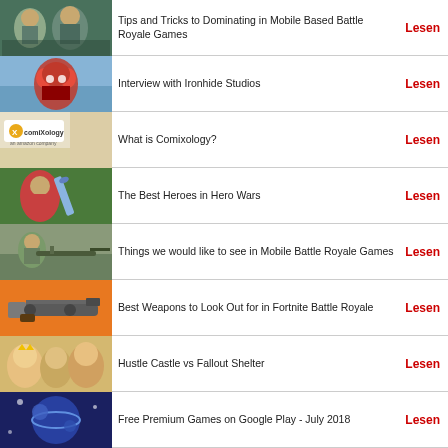Tips and Tricks to Dominating in Mobile Based Battle Royale Games | Lesen
Interview with Ironhide Studios | Lesen
What is Comixology? | Lesen
The Best Heroes in Hero Wars | Lesen
Things we would like to see in Mobile Battle Royale Games | Lesen
Best Weapons to Look Out for in Fortnite Battle Royale | Lesen
Hustle Castle vs Fallout Shelter | Lesen
Free Premium Games on Google Play - July 2018 | Lesen